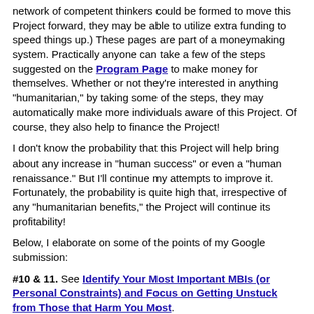network of competent thinkers could be formed to move this Project forward, they may be able to utilize extra funding to speed things up.) These pages are part of a moneymaking system. Practically anyone can take a few of the steps suggested on the Program Page to make money for themselves. Whether or not they're interested in anything "humanitarian," by taking some of the steps, they may automatically make more individuals aware of this Project. Of course, they also help to finance the Project!
I don't know the probability that this Project will help bring about any increase in "human success" or even a "human renaissance." But I'll continue my attempts to improve it. Fortunately, the probability is quite high that, irrespective of any "humanitarian benefits," the Project will continue its profitability!
Below, I elaborate on some of the points of my Google submission:
#10 & 11. See Identify Your Most Important MBIs (or Personal Constraints) and Focus on Getting Unstuck from Those that Harm You Most.
#11-1. In addition to what's already on these pages, more content will be added to address other steps to physically improve brain function. Some important issues related to brain function will also be covered: